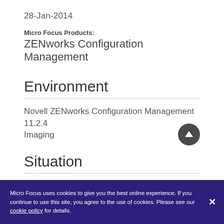28-Jan-2014
Micro Focus Products: ZENworks Configuration Management
Environment
Novell ZENworks Configuration Management 11.2.4 Imaging
Situation
Linux satellite server updated from ZENworks 11.2.4 to 11.2.4 Monthly Update 1 (11.2.4 MU1)
Micro Focus uses cookies to give you the best online experience. If you continue to use this site, you agree to the use of cookies. Please see our cookie policy for details.